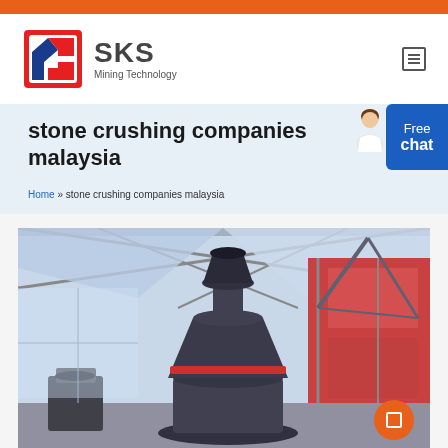[Figure (logo): SKS Mining Technology logo with stylized S icon in red and blue]
stone crushing companies malaysia
Home » stone crushing companies malaysia
[Figure (photo): Industrial cone crusher or vertical mill inside a factory building with metal roof structure]